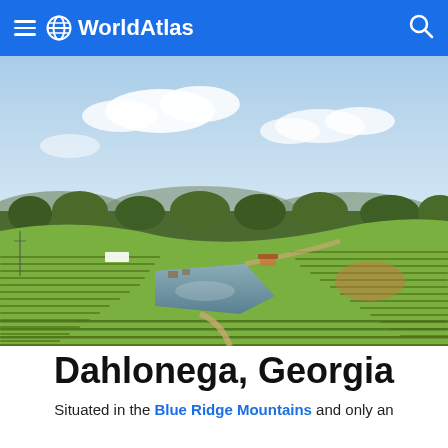WorldAtlas
[Figure (photo): Aerial view of a vineyard and farm with a rectangular pond in the center, surrounded by rolling green hills and rows of grapevines, with Blue Ridge Mountains visible in the background under a partly cloudy sky.]
Dahlonega, Georgia
Situated in the Blue Ridge Mountains and only an